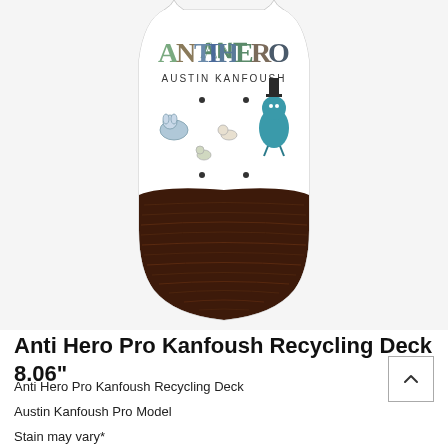[Figure (photo): Skateboard deck shown from above with white top half featuring ANTIHERO logo and Austin Kanfoush text with illustrated characters, and dark wood grain bottom half]
Anti Hero Pro Kanfoush Recycling Deck 8.06"
Anti Hero Pro Kanfoush Recycling Deck
Austin Kanfoush Pro Model
Stain may vary*